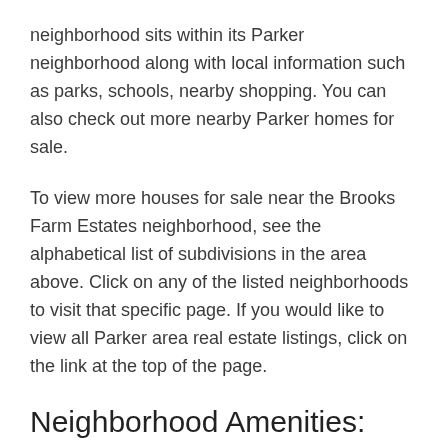neighborhood sits within its Parker neighborhood along with local information such as parks, schools, nearby shopping. You can also check out more nearby Parker homes for sale.
To view more houses for sale near the Brooks Farm Estates neighborhood, see the alphabetical list of subdivisions in the area above. Click on any of the listed neighborhoods to visit that specific page. If you would like to view all Parker area real estate listings, click on the link at the top of the page.
Neighborhood Amenities:
Golf